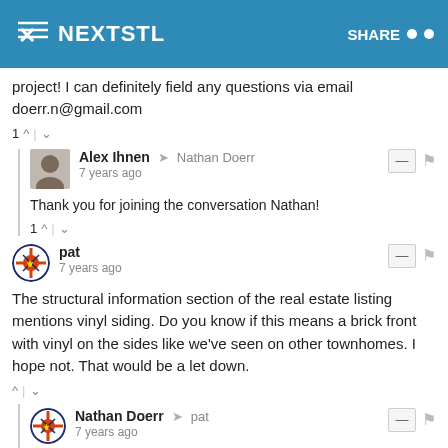NEXTSTL  SHARE
project! I can definitely field any questions via email doerr.n@gmail.com
1 ^ | v
Alex Ihnen → Nathan Doerr
7 years ago
Thank you for joining the conversation Nathan!
1 ^ | v
pat
7 years ago
The structural information section of the real estate listing mentions vinyl siding. Do you know if this means a brick front with vinyl on the sides like we've seen on other townhomes. I hope not. That would be a let down.
^ | v
Nathan Doerr → pat
7 years ago
Pat. All brick front and sides. The rear of 1733 will also be